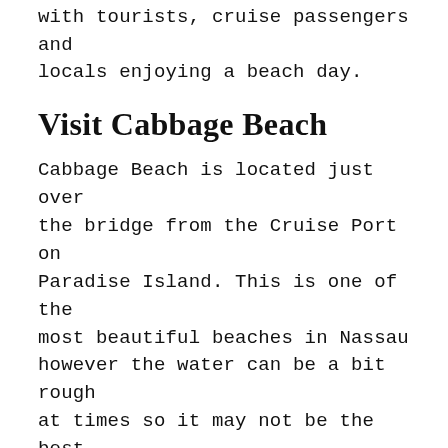with tourists, cruise passengers and locals enjoying a beach day.
Visit Cabbage Beach
Cabbage Beach is located just over the bridge from the Cruise Port on Paradise Island. This is one of the most beautiful beaches in Nassau however the water can be a bit rough at times so it may not be the best beach for non swimmers.
The cab ride is about $4-6 per person. So it is not a bad deal. While the beach doesn't have a lot of amenities there are locals up and down the beach offering chairs for